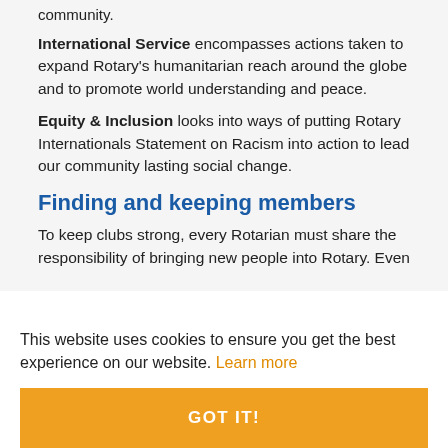community.
International Service encompasses actions taken to expand Rotary's humanitarian reach around the globe and to promote world understanding and peace.
Equity & Inclusion looks into ways of putting Rotary Internationals Statement on Racism into action to lead our community lasting social change.
Finding and keeping members
To keep clubs strong, every Rotarian must share the responsibility of bringing new people into Rotary. Even
This website uses cookies to ensure you get the best experience on our website. Learn more
GOT IT!